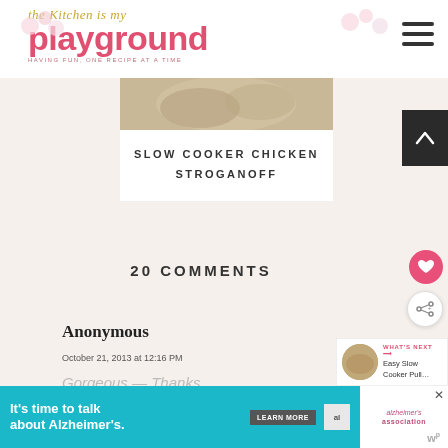The Kitchen is my Playground — HAVING FUN, ONE RECIPE AT A TIME
[Figure (photo): Slow Cooker Chicken Stroganoff food photo — partial view of dish]
SLOW COOKER CHICKEN STROGANOFF
20 COMMENTS
Anonymous
October 21, 2013 at 12:16 PM
Gorgeous — Thanks
[Figure (photo): WHAT'S NEXT — Easy Slow Cooker Pull... thumbnail]
[Figure (other): Advertisement banner: It's time to talk about Alzheimer's. LEARN MORE. Alzheimer's Association.]